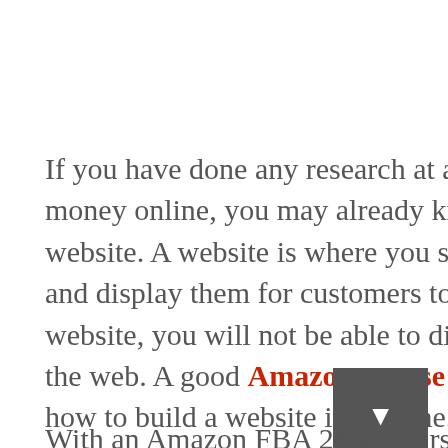If you have done any research at all on how to make money online, you may already know that you need a website. A website is where you store your products and display them for customers to see. Without a website, you will not be able to display your items on the web. A good Amazon course can help you learn how to build a website in no time. Once you have your site, you are ready to start generating income. Customers will visit your site looking for what you are selling.
With an Amazon FBA 2100 course, you will